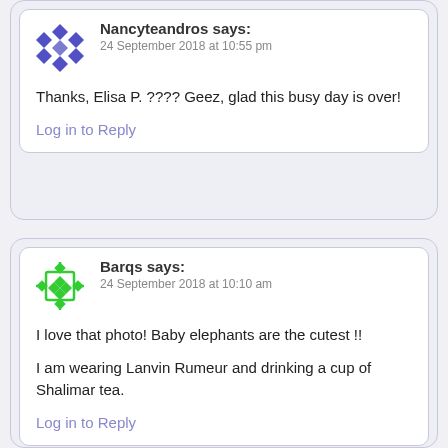Nancyteandros says: 24 September 2018 at 10:55 pm
Thanks, Elisa P. ???? Geez, glad this busy day is over!
Log in to Reply
Barqs says: 24 September 2018 at 10:10 am
I love that photo! Baby elephants are the cutest !! I am wearing Lanvin Rumeur and drinking a cup of Shalimar tea.
Log in to Reply